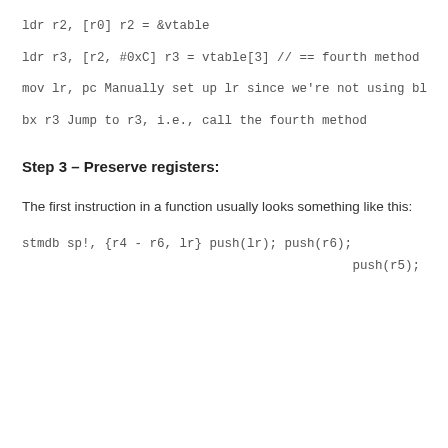ldr r2, [r0] r2 = &vtable
ldr r3, [r2, #0xC] r3 = vtable[3] // == fourth method
mov lr, pc Manually set up lr since we're not using bl
bx r3 Jump to r3, i.e., call the fourth method
Step 3 – Preserve registers:
The first instruction in a function usually looks something like this:
stmdb sp!, {r4 - r6, lr} push(lr); push(r6);
push(r5);